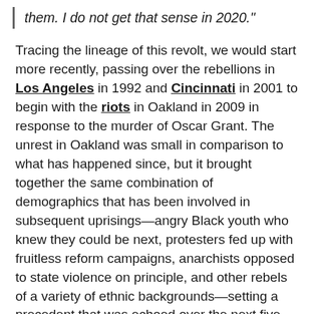them. I do not get that sense in 2020."
Tracing the lineage of this revolt, we would start more recently, passing over the rebellions in Los Angeles in 1992 and Cincinnati in 2001 to begin with the riots in Oakland in 2009 in response to the murder of Oscar Grant. The unrest in Oakland was small in comparison to what has happened since, but it brought together the same combination of demographics that has been involved in subsequent uprisings—angry Black youth who knew they could be next, protesters fed up with fruitless reform campaigns, anarchists opposed to state violence on principle, and other rebels of a variety of ethnic backgrounds—setting a precedent that was echoed over the next five years in Seattle, Atlanta,